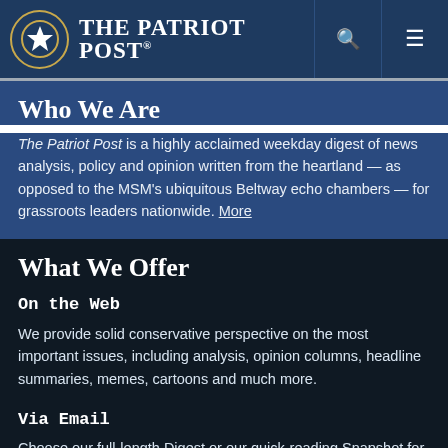The Patriot Post
Who We Are
The Patriot Post is a highly acclaimed weekday digest of news analysis, policy and opinion written from the heartland — as opposed to the MSM's ubiquitous Beltway echo chambers — for grassroots leaders nationwide. More
What We Offer
On the Web
We provide solid conservative perspective on the most important issues, including analysis, opinion columns, headline summaries, memes, cartoons and much more.
Via Email
Choose our full-length Digest or our quick-reading Snapshot for a summary of important news. We also offer Cartoons & Memes on